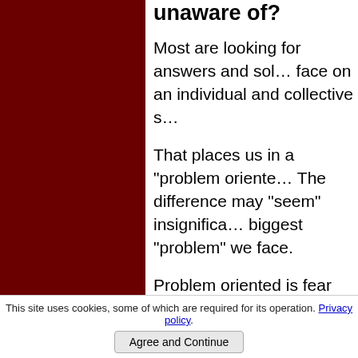unaware of?
Most are looking for answers and solutions to the challenges we face on an individual and collective s…
That places us in a "problem oriented… The difference may "seem" insignifica… biggest "problem" we face.
Problem oriented is fear based and le… destruction. Some of these changes a… Becoming and remaining Solution Fo… with love, the outcomes of which are…
A mix of the 2 leads to and provides "… which "seem" good and others which…
The why behind it may not be obviou… start out in a very rational, logical and… those words.
This site uses cookies, some of which are required for its operation. Privacy policy  Agree and Continue